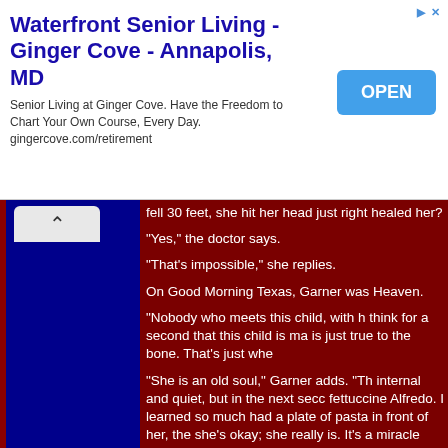[Figure (screenshot): Advertisement banner for Waterfront Senior Living - Ginger Cove - Annapolis, MD with an OPEN button]
fell 30 feet, she hit her head just right healed her?

"Yes," the doctor says.

"That's impossible," she replies.

On Good Morning Texas, Garner was Heaven.

"Nobody who meets this child, with h think for a second that this child is ma is just true to the bone. That's just whe

"She is an old soul," Garner adds. "Th internal and quiet, but in the next secc fettuccine Alfredo. I learned so much had a plate of pasta in front of her, the she's okay; she really is. It's a miracle